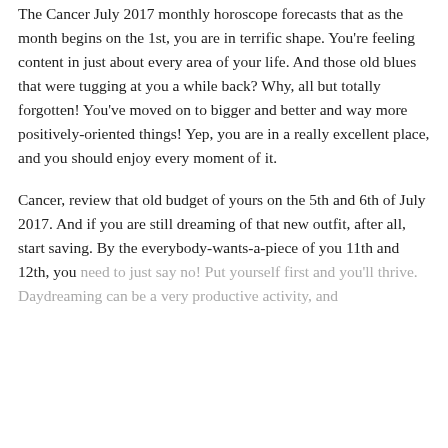The Cancer July 2017 monthly horoscope forecasts that as the month begins on the 1st, you are in terrific shape. You're feeling content in just about every area of your life. And those old blues that were tugging at you a while back? Why, all but totally forgotten! You've moved on to bigger and better and way more positively-oriented things! Yep, you are in a really excellent place, and you should enjoy every moment of it.
Cancer, review that old budget of yours on the 5th and 6th of July 2017. And if you are still dreaming of that new outfit, after all, start saving. By the everybody-wants-a-piece of you 11th and 12th, you need to just say no! Put yourself first and you'll thrive. Daydreaming can be a very productive activity, and